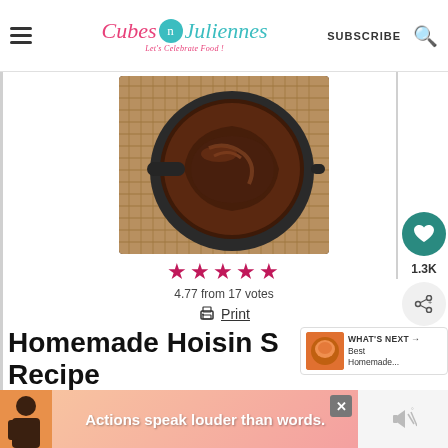Cubes n Juliennes — Let's Celebrate Food! | SUBSCRIBE
[Figure (photo): Overhead view of hoisin sauce in a dark cast iron skillet/pan, showing rich dark brown sauce swirled inside]
4.77 from 17 votes
Print
Homemade Hoisin Sauce Recipe
Actions speak louder than words.
WHAT'S NEXT → Best Homemade...